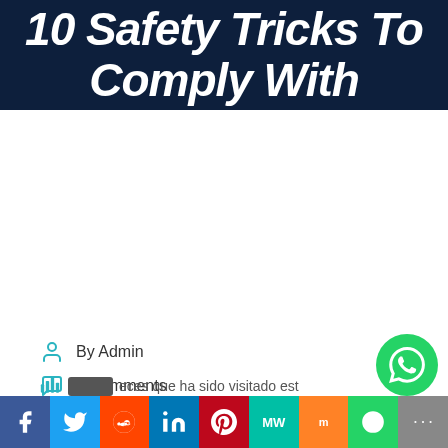10 Safety Tricks To Comply With
By Admin
0 Comments
Enero 28, 2021
veces que ha sido visitado est
Facebook | Twitter | Reddit | LinkedIn | Pinterest | MW | Mix | WhatsApp | More